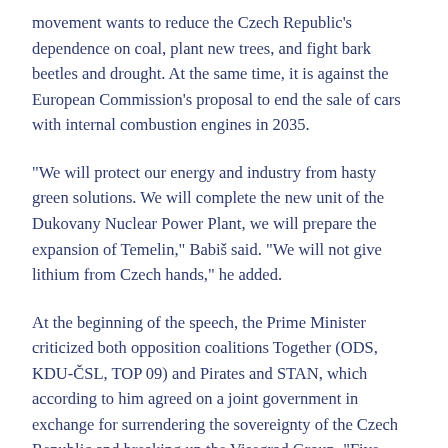movement wants to reduce the Czech Republic's dependence on coal, plant new trees, and fight bark beetles and drought. At the same time, it is against the European Commission's proposal to end the sale of cars with internal combustion engines in 2035.
“We will protect our energy and industry from hasty green solutions. We will complete the new unit of the Dukovany Nuclear Power Plant, we will prepare the expansion of Temelin,” Babiš said. “We will not give lithium from Czech hands,” he added.
At the beginning of the speech, the Prime Minister criticized both opposition coalitions Together (ODS, KDU-ČSL, TOP 09) and Pirates and STAN, which according to him agreed on a joint government in exchange for surrendering the sovereignty of the Czech Republic and breaking up the Visegrad Group. “Five cowards have teamed up against one, because they do not dare on me and the ANO movement,”